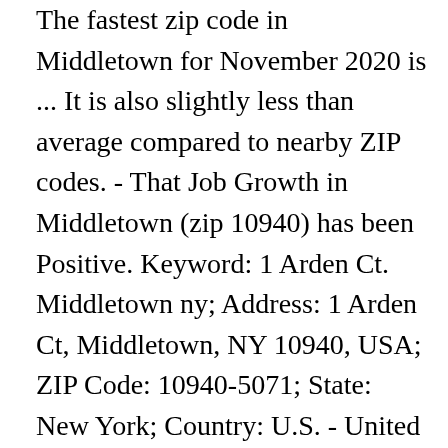The fastest zip code in Middletown for November 2020 is ... It is also slightly less than average compared to nearby ZIP codes. - That Job Growth in Middletown (zip 10940) has been Positive. Keyword: 1 Arden Ct. Middletown ny; Address: 1 Arden Ct, Middletown, NY 10940, USA; ZIP Code: 10940-5071; State: New York; Country: U.S. - United States; Envelope Example. ZIP Code 10940 is in the following school districts: Middletown City School District, Minisink Valley Central School District, and Private. Middletown (RI) is 750 miles east-northeast. the area that you are interested in, select from the options below google_ad_client = "ca-pub-5956934570453269"; Description Legal. While